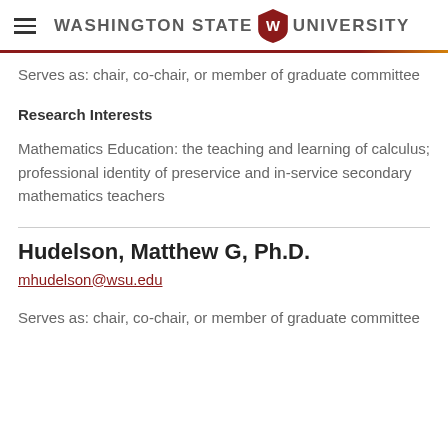Washington State University
Serves as: chair, co-chair, or member of graduate committee
Research Interests
Mathematics Education: the teaching and learning of calculus; professional identity of preservice and in-service secondary mathematics teachers
Hudelson, Matthew G, Ph.D.
mhudelson@wsu.edu
Serves as: chair, co-chair, or member of graduate committee